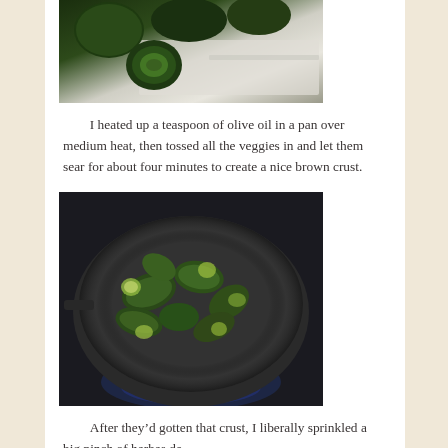[Figure (photo): Zucchini being cut on a white cutting board, showing dark green zucchini pieces]
I heated up a teaspoon of olive oil in a pan over medium heat, then tossed all the veggies in and let them sear for about four minutes to create a nice brown crust.
[Figure (photo): Chopped zucchini pieces searing in a dark pan on a stove burner]
After they’d gotten that crust, I liberally sprinkled a big pinch of herbes de